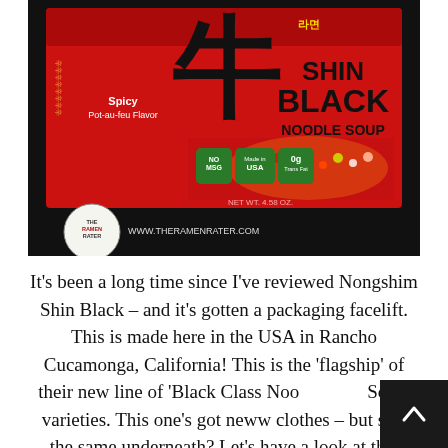[Figure (photo): Nongshim Shin Black Noodle Soup package in red packaging with Korean characters, showing 'SHIN BLACK NOODLE SOUP', 'Spicy Pot-au-feu Flavor', badges reading 'NO MSG', 'Made in USA', '0g Trans Fat', NET WT 4.58 OZ, with The Ramen Rater logo and www.theramenrater.com watermark at bottom left.]
It's been a long time since I've reviewed Nongshim Shin Black – and it's gotten a packaging facelift. This is made here in the USA in Rancho Cucamonga, California! This is the 'flagship' of their new line of 'Black Class Noodle Soup' varieties. This one's got neww clothes – but still the same underneath? Let's have a look at this